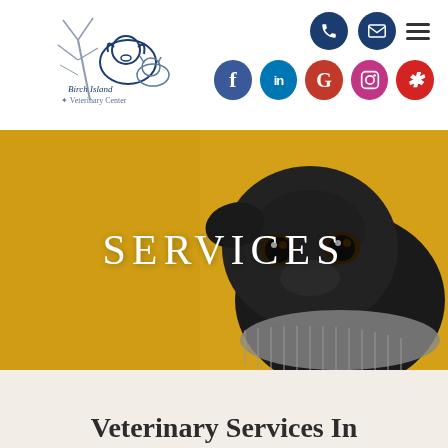[Figure (logo): Birch Island Veterinary Center logo with tree and animal silhouettes]
[Figure (infographic): Navigation icons: phone, mail, hamburger menu, Facebook, LinkedIn, Google, Instagram, Yelp social media circles]
[Figure (photo): Black pug dog looking up on yellow/gold background, hero banner image]
SERVICES
Veterinary Services In